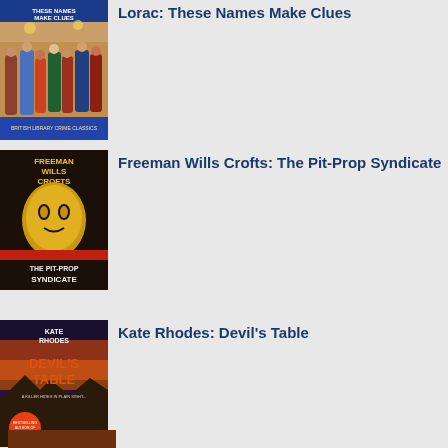[Figure (photo): Book cover: Lorac: These Names Make Clues - showing a ballroom scene with many people in evening wear]
Lorac: These Names Make Clues
[Figure (photo): Book cover: Freeman Wills Crofts: The Pit-Prop Syndicate - dark cover with golden face/mask and dramatic design]
Freeman Wills Crofts: The Pit-Prop Syndicate
[Figure (photo): Book cover: Kate Rhodes: Devil's Table - showing dramatic coastal scene at dusk/sunset with rocks and water]
Kate Rhodes: Devil's Table
[Figure (photo): Partial book cover visible at bottom of page]